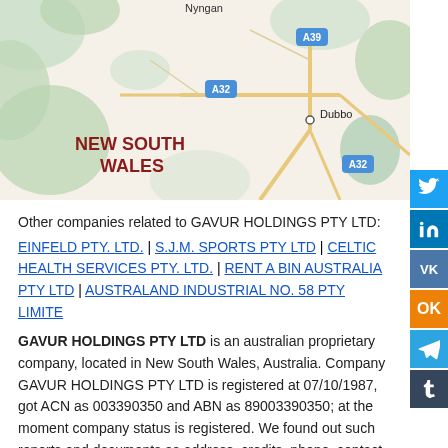[Figure (map): Map showing New South Wales region with Nyngan, Dubbo, roads A32 and A39 labeled. 'NEW SOUTH WALES' text in dark red on the map.]
Other companies related to GAVUR HOLDINGS PTY LTD:
EINFELD PTY. LTD. | S.J.M. SPORTS PTY LTD | CELTIC HEALTH SERVICES PTY. LTD. | RENT A BIN AUSTRALIA PTY LTD | AUSTRALAND INDUSTRIAL NO. 58 PTY LIMITED
GAVUR HOLDINGS PTY LTD is an australian proprietary company, located in New South Wales, Australia. Company GAVUR HOLDINGS PTY LTD is registered at 07/10/1987, got ACN as 003390350 and ABN as 89003390350; at the moment company status is registered. We found out such reports and documents as address, credits, phone, contact data GAVUR HOLDINGS PTY LTD 2022, vacancies, responds, finance, company information, confirmation